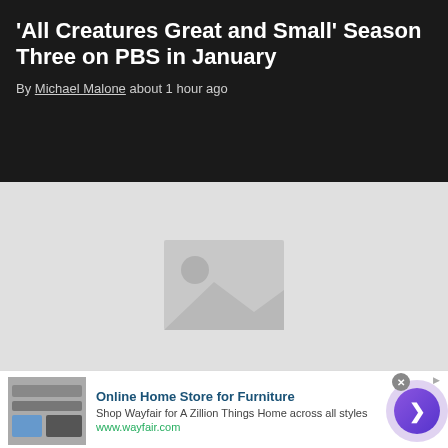'All Creatures Great and Small' Season Three on PBS in January
By Michael Malone about 1 hour ago
[Figure (photo): Image placeholder for article about 'All Creatures Great and Small']
Nielsen Shareholders Approve $16 Billion Sale to Private Equity
By Jon Lafayette about 1 hour ago
[Figure (infographic): Advertisement: Online Home Store for Furniture - Wayfair. Shop Wayfair for A Zillion Things Home across all styles. www.wayfair.com]